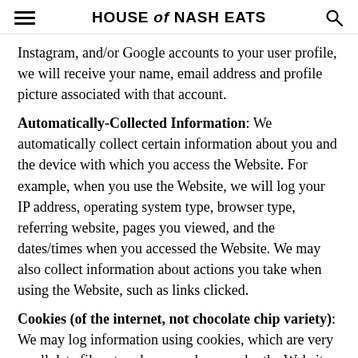HOUSE of NASH EATS
Instagram, and/or Google accounts to your user profile, we will receive your name, email address and profile picture associated with that account.
Automatically-Collected Information: We automatically collect certain information about you and the device with which you access the Website. For example, when you use the Website, we will log your IP address, operating system type, browser type, referring website, pages you viewed, and the dates/times when you accessed the Website. We may also collect information about actions you take when using the Website, such as links clicked.
Cookies (of the internet, not chocolate chip variety): We may log information using cookies, which are very small data files stored on your browser by the Website. Cookies are used by most websites to tailor content and